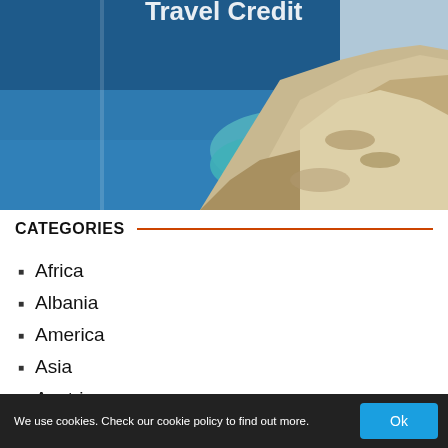[Figure (photo): Coastal cliffside scene with turquoise blue sea water and rocky limestone cliffs. Partially visible text 'Travel Credit' at top in white.]
CATEGORIES
Africa
Albania
America
Asia
Austria
We use cookies. Check our cookie policy to find out more.